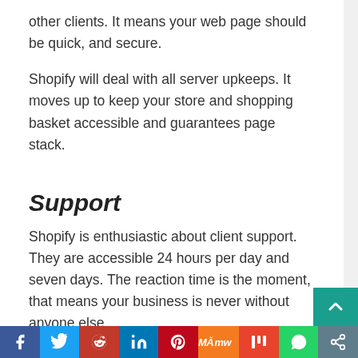other clients. It means your web page should be quick, and secure.
Shopify will deal with all server upkeeps. It moves up to keep your store and shopping basket accessible and guarantees page stack.
Support
Shopify is enthusiastic about client support. They are accessible 24 hours per day and seven days. The reaction time is the moment, that means your business is never without anyone else.
You can connect through telephone, email or web visit. Also, there are various group gatherings in the Shop
Social sharing bar: Facebook, Twitter, Reddit, LinkedIn, Pinterest, MeWe, Mix, WhatsApp, Share